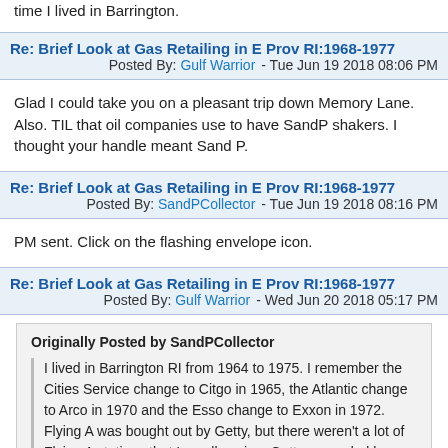time I lived in Barrington.
Re: Brief Look at Gas Retailing in E Prov RI:1968-1977 - Tue Jun 19 2018 08:06 PM  Posted By: Gulf Warrior
Glad I could take you on a pleasant trip down Memory Lane. Also. TIL that oil companies use to have SandP shakers. I thought your handle meant Sand P.
Re: Brief Look at Gas Retailing in E Prov RI:1968-1977 - Tue Jun 19 2018 08:16 PM  Posted By: SandPCollector
PM sent. Click on the flashing envelope icon.
Re: Brief Look at Gas Retailing in E Prov RI:1968-1977 - Wed Jun 20 2018 05:17 PM  Posted By: Gulf Warrior
Originally Posted by SandPCollector
I lived in Barrington RI from 1964 to 1975. I remember the Cities Service change to Citgo in 1965, the Atlantic change to Arco in 1970 and the Esso change to Exxon in 1972. Flying A was bought out by Getty, but there weren't a lot of Flying A stations that I recall seeing. Getty expanded by rebranding other stations - I remember a Gulf and an Arco station changing to Getty. In addition to those brands I remember